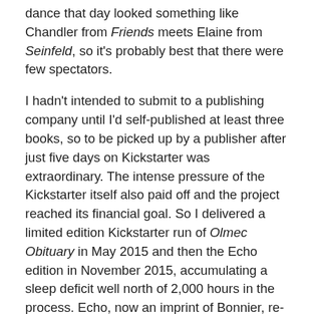dance that day looked something like Chandler from Friends meets Elaine from Seinfeld, so it's probably best that there were few spectators.

I hadn't intended to submit to a publishing company until I'd self-published at least three books, so to be picked up by a publisher after just five days on Kickstarter was extraordinary. The intense pressure of the Kickstarter itself also paid off and the project reached its financial goal. So I delivered a limited edition Kickstarter run of Olmec Obituary in May 2015 and then the Echo edition in November 2015, accumulating a sleep deficit well north of 2,000 hours in the process. Echo, now an imprint of Bonnier, re-released Olmec Obituary in August this year with a gorgeous new cover designed by Josh Durham. Is it wrong to fall in love with your own book covers?